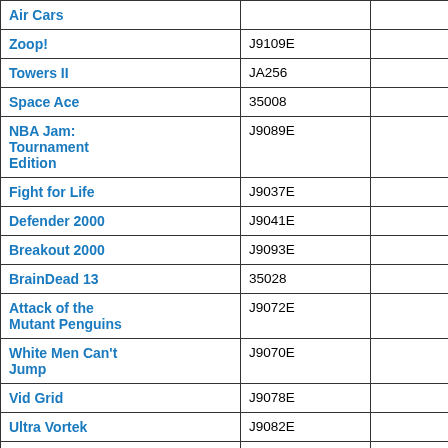| Game Title | Code |  |
| --- | --- | --- |
| Air Cars |  |  |
| Zoop! | J9109E |  |
| Towers II | JA256 |  |
| Space Ace | 35008 |  |
| NBA Jam: Tournament Edition | J9089E |  |
| Fight for Life | J9037E |  |
| Defender 2000 | J9041E |  |
| Breakout 2000 | J9093E |  |
| BrainDead 13 | 35028 |  |
| Attack of the Mutant Penguins | J9072E |  |
| White Men Can't Jump | J9070E |  |
| Vid Grid | J9078E |  |
| Ultra Vortek | J9082E |  |
| Troy Aikman NFL Football | 21942 |  |
| Theme Park | 8001-TPKJAG |  |
| Tempest 2000 | J9000 |  |